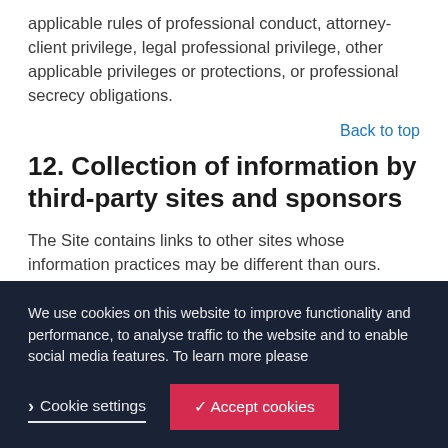applicable rules of professional conduct, attorney-client privilege, legal professional privilege, other applicable privileges or protections, or professional secrecy obligations.
Back to top
12. Collection of information by third-party sites and sponsors
The Site contains links to other sites whose information practices may be different than ours. Visitors should consult the other sites' privacy notices as DLA Piper has no control over information that is submitted to or
We use cookies on this website to improve functionality and performance, to analyse traffic to the website and to enable social media features. To learn more please
Cookie settings
✓ Accept cookies